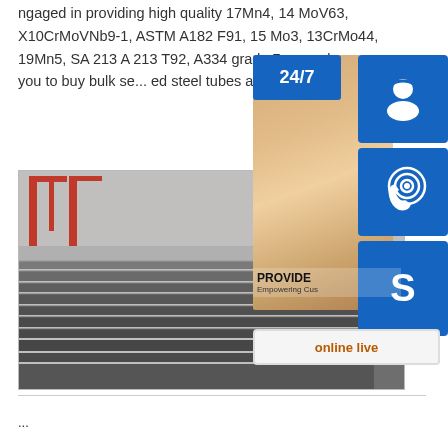ngaged in providing high quality 17Mn4, 14MoV63, X10CrMoVNb9-1, ASTM A182 F91, 15 Mo3, 13CrMo44, 19Mn5, SA 213 A 213 T92, A334 grade 7 p... welcome you to buy bulk se... ed steel tubes and pipes, st...
[Figure (photo): Stack of steel plates at an industrial yard with a red crane structure in the background. Overlaid with a customer support chat widget showing a woman with a headset, 24/7 badge, support icons (headset, phone, Skype), PROVIDE Empowering Customers text, and an online live button.]
...